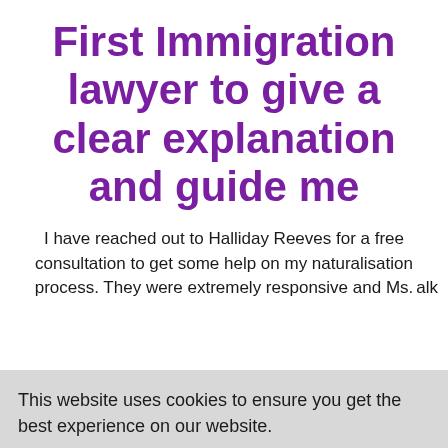First Immigration lawyer to give a clear explanation and guide me
I have reached out to Halliday Reeves for a free consultation to get some help on my naturalisation process. They were extremely responsive and Ms.
alk
This website uses cookies to ensure you get the best experience on our website.
Learn more
cime
ht
Got it!
our
exchange.